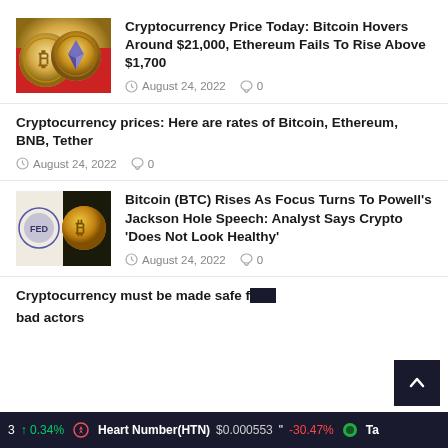[Figure (photo): Two gold cryptocurrency coins (Bitcoin and Ethereum) on red background]
Cryptocurrency Price Today: Bitcoin Hovers Around $21,000, Ethereum Fails To Rise Above $1,700
August 24, 2022   0
Cryptocurrency prices: Here are rates of Bitcoin, Ethereum, BNB, Tether
August 24, 2022   0
[Figure (photo): Federal Reserve seal and Bitcoin coin image]
Bitcoin (BTC) Rises As Focus Turns To Powell's Jackson Hole Speech: Analyst Says Crypto 'Does Not Look Healthy'
August 24, 2022   0
Cryptocurrency must be made safe from bad actors
3 ! 0.34%   Heart Number(HTN)  $0.000553  " -30.47%   Ta